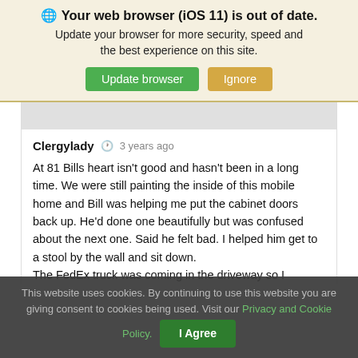🌐 Your web browser (iOS 11) is out of date. Update your browser for more security, speed and the best experience on this site. [Update browser] [Ignore]
Clergylady  🕐  3 years ago
At 81 Bills heart isn't good and hasn't been in a long time. We were still painting the inside of this mobile home and Bill was helping me put the cabinet doors back up. He'd done one beautifully but was confused about the next one. Said he felt bad. I helped him get to a stool by the wall and sit down.
The FedEx truck was coming in the driveway so I
This website uses cookies. By continuing to use this website you are giving consent to cookies being used. Visit our Privacy and Cookie Policy. [I Agree]